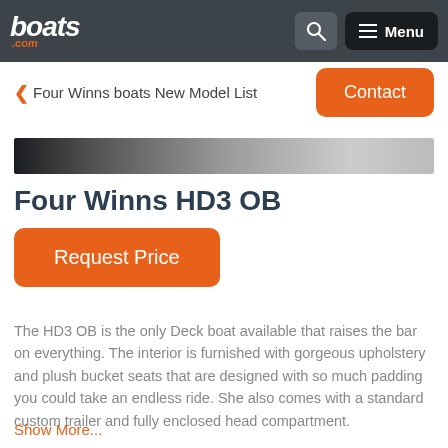boats.com — Menu
❮ Four Winns boats New Model List
[Figure (photo): Boat image banner strip, dark gradient]
Four Winns HD3 OB
Request Price
The HD3 OB is the only Deck boat available that raises the bar on everything. The interior is furnished with gorgeous upholstery and plush bucket seats that are designed with so much padding you could take an endless ride. She also comes with a standard custom trailer and fully enclosed head compartment.
Show More...